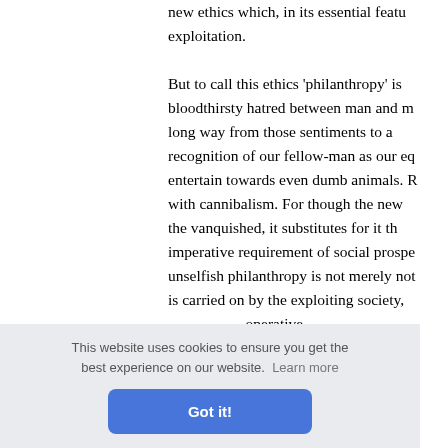new ethics which, in its essential features, is exploitation.

But to call this ethics 'philanthropy' is bloodthirsty hatred between man and man, a long way from those sentiments to a recognition of our fellow-man as our equal, entertain towards even dumb animals. R with cannibalism. For though the new the vanquished, it substitutes for it the imperative requirement of social prosperity unselfish philanthropy is not merely not is carried on by the exploiting society, operative exploitation ceptions. vilised na e words up to tho ellow-ma have without the slightest scruple profit
This website uses cookies to ensure you get the best experience on our website. Learn more
Got it!